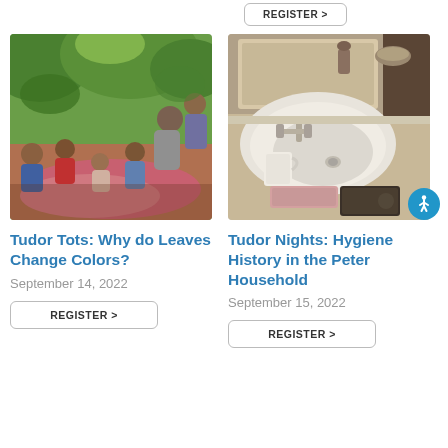[Figure (other): Partial REGISTER > button cropped at top of page]
[Figure (photo): Children sitting outdoors on a blanket in a park, adults and trees in background, diverse group of young kids]
Tudor Tots: Why do Leaves Change Colors?
September 14, 2022
REGISTER >
[Figure (photo): Vintage bathroom sink with faucet, porcelain basin, a mug, pink hand towel, and a dark book on the counter]
Tudor Nights: Hygiene History in the Peter Household
September 15, 2022
REGISTER >